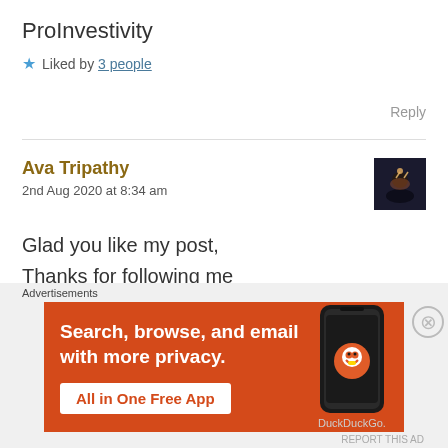ProInvestivity
★ Liked by 3 people
Reply
Ava Tripathy
2nd Aug 2020 at 8:34 am
Glad you like my post,
Thanks for following me
I have followed you back too
[Figure (screenshot): DuckDuckGo advertisement banner: orange background with white bold text 'Search, browse, and email with more privacy.' and a white button 'All in One Free App', alongside a phone mockup with DuckDuckGo logo and 'DuckDuckGo.' text]